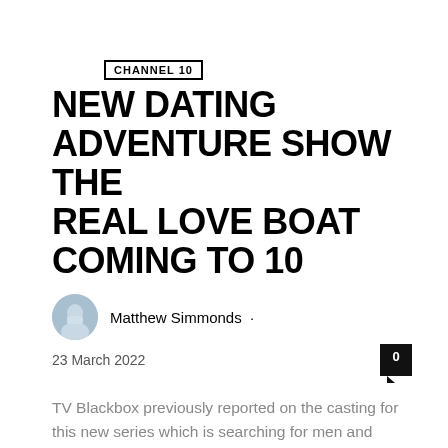CHANNEL 10
NEW DATING ADVENTURE SHOW THE REAL LOVE BOAT COMING TO 10
Matthew Simmonds · 23 March 2022
TV Blackbox previously reported on the casting for this new series which is searching for men and women to embark on a trip of a lifetime in search of true love.
Read more